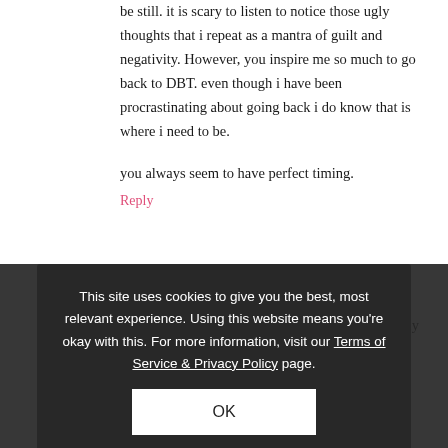be still. it is scary to listen to notice those ugly thoughts that i repeat as a mantra of guilt and negativity. However, you inspire me so much to go back to DBT. even though i have been procrastinating about going back i do know that is where i need to be.
you always seem to have perfect timing.
Reply
This site uses cookies to give you the best, most relevant experience. Using this website means you're okay with this. For more information, visit our Terms of Service & Privacy Policy page.
OK
Katrin D. (tolvoton)
Reading about that still scares me. If I did things like that I would get nervous all over the place, impossibly tense, because I think that I lose time on doing/finishing other stuff. That usually